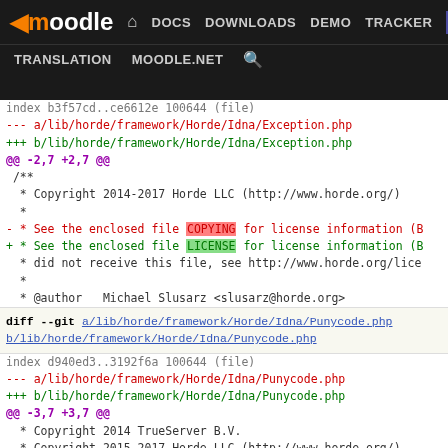[Figure (screenshot): Moodle developer site navigation bar with logo, DOCS, DOWNLOADS, DEMO, TRACKER, DEV links, and TRANSLATION, MOODLE.NET, search links below]
index b3f57cd..ce6612e 100644 (file)
--- a/lib/horde/framework/Horde/Idna/Exception.php
+++ b/lib/horde/framework/Horde/Idna/Exception.php
@@ -2,7 +2,7 @@
 /**
  * Copyright 2014-2017 Horde LLC (http://www.horde.org/)
  *
- * See the enclosed file COPYING for license information (B
+ * See the enclosed file LICENSE for license information (B
  * did not receive this file, see http://www.horde.org/lice
  *
  * @author   Michael Slusarz <slusarz@horde.org>
diff --git a/lib/horde/framework/Horde/Idna/Punycode.php b/lib/horde/framework/Horde/Idna/Punycode.php
index d940ed3..3192f6a 100644 (file)
--- a/lib/horde/framework/Horde/Idna/Punycode.php
+++ b/lib/horde/framework/Horde/Idna/Punycode.php
@@ -3,7 +3,7 @@
  * Copyright 2014 TrueServer B.V.
  * Copyright 2015-2017 Horde LLC (http://www.horde.org/)
  *
- * See the enclosed file COPYING for license information (B
+ * See the enclosed file LICENSE for license information (B
  * did not receive this file, see http://www.horde.org/lice
  *